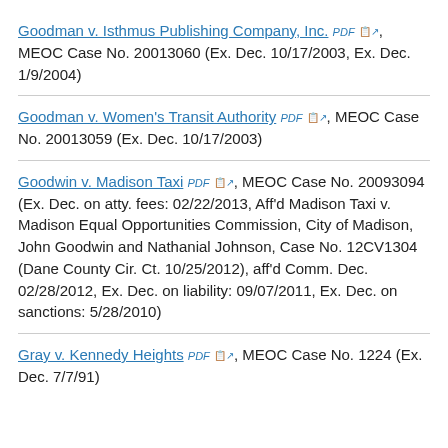Goodman v. Isthmus Publishing Company, Inc. PDF, MEOC Case No. 20013060 (Ex. Dec. 10/17/2003, Ex. Dec. 1/9/2004)
Goodman v. Women's Transit Authority PDF, MEOC Case No. 20013059 (Ex. Dec. 10/17/2003)
Goodwin v. Madison Taxi PDF, MEOC Case No. 20093094 (Ex. Dec. on atty. fees: 02/22/2013, Aff'd Madison Taxi v. Madison Equal Opportunities Commission, City of Madison, John Goodwin and Nathanial Johnson, Case No. 12CV1304 (Dane County Cir. Ct. 10/25/2012), aff'd Comm. Dec. 02/28/2012, Ex. Dec. on liability: 09/07/2011, Ex. Dec. on sanctions: 5/28/2010)
Gray v. Kennedy Heights PDF, MEOC Case No. 1224 (Ex. Dec. 7/7/91)